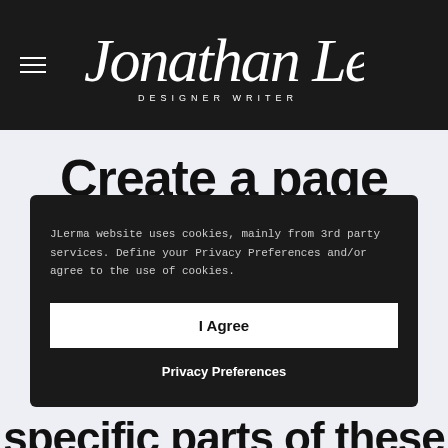Jonathan Lerma — DESIGNER WRITER
Create a page
JLerma website uses cookies, mainly from 3rd party services. Define your Privacy Preferences and/or agree to the use of cookies.
I Agree
Privacy Preferences
specific parts of these